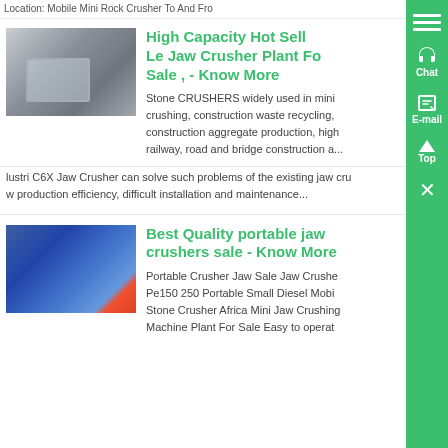Location: Mobile Mini Rock Crusher To And Fro
High Capacity Hot Sell Le Jaw Crusher Plant For Sale , - Know More
Stone CRUSHERS widely used in mini crushing, construction waste recycling, construction aggregate production, high railway, road and bridge construction a...
lustri C6X Jaw Crusher can solve such problems of the existing jaw cru w production efficiency, difficult installation and maintenance...
[Figure (photo): Industrial electrical control panel / machine equipment photo]
[Figure (photo): Workers in blue overalls working on industrial/mining equipment]
Best Quality portable jaw crushers sale - Know More
Portable Crusher Jaw Sale Jaw Crushe Pe150 250 Portable Small Diesel Mobi Stone Crusher Africa Mini Jaw Crushing Machine Plant For Sale Easy to operat